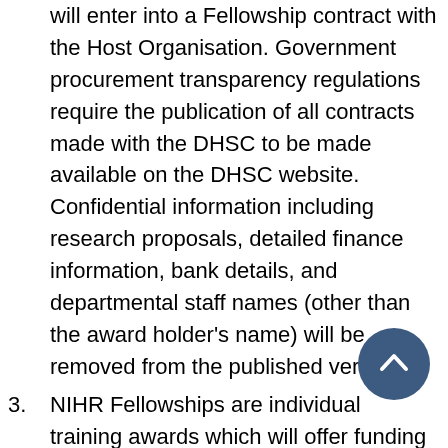will enter into a Fellowship contract with the Host Organisation. Government procurement transparency regulations require the publication of all contracts made with the DHSC to be made available on the DHSC website. Confidential information including research proposals, detailed finance information, bank details, and departmental staff names (other than the award holder's name) will be removed from the published versions.
3. NIHR Fellowships are individual training awards which will offer funding to cover the salary costs of the individual, and training and development programme.
4. All Fellowships will be funded at 100% and Full Economic Costs will not be covered.